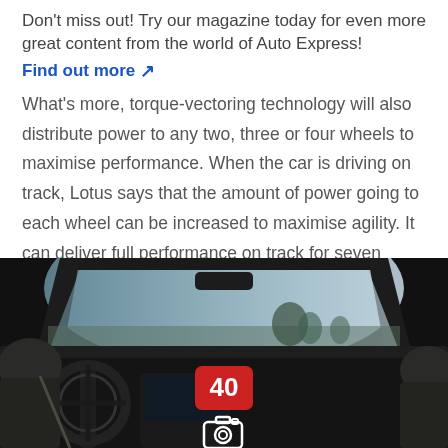Don't miss out! Try our magazine today for even more great content from the world of Auto Express!
Find out more ↗
What's more, torque-vectoring technology will also distribute power to any two, three or four wheels to maximise performance. When the car is driving on track, Lotus says that the amount of power going to each wheel can be increased to maximise agility. It can deliver full performance on track for seven minutes – the equivalent to around four laps of Silverstone.
[Figure (photo): Interior view of a Lotus sports car cockpit showing the steering wheel, dashboard and windscreen with a dry landscape visible outside. A red badge showing '40' is overlaid on the image along with a camera icon below it.]